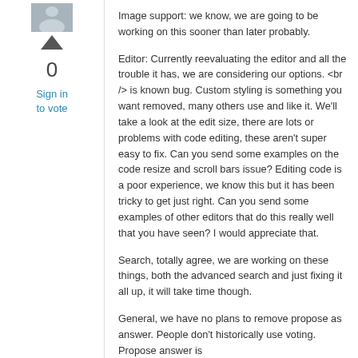[Figure (illustration): Gray avatar/user placeholder icon]
▲
0
Sign in to vote
Image support: we know, we are going to be working on this sooner than later probably.
Editor: Currently reevaluating the editor and all the trouble it has, we are considering our options. <br /> is known bug. Custom styling is something you want removed, many others use and like it. We'll take a look at the edit size, there are lots or problems with code editing, these aren't super easy to fix. Can you send some examples on the code resize and scroll bars issue? Editing code is a poor experience, we know this but it has been tricky to get just right. Can you send some examples of other editors that do this really well that you have seen? I would appreciate that.
Search, totally agree, we are working on these things, both the advanced search and just fixing it all up, it will take time though.
General, we have no plans to remove propose as answer. People don't historically use voting. Propose answer is